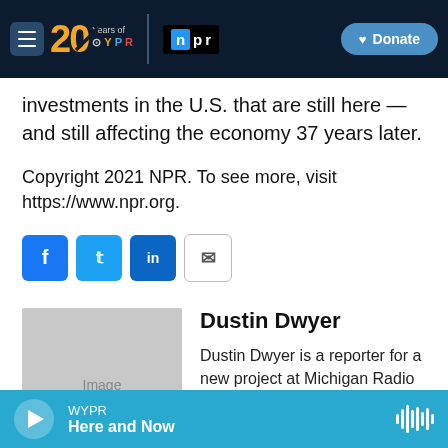[Figure (screenshot): WYPR 20 Years navigation bar with hamburger menu, WYPR 20th anniversary logo, NPR logo, and Donate button on dark navy background]
investments in the U.S. that are still here — and still affecting the economy 37 years later.
Copyright 2021 NPR. To see more, visit https://www.npr.org.
[Figure (screenshot): Social share buttons: Facebook, Twitter, LinkedIn, and Email]
Dustin Dwyer
[Figure (photo): Placeholder image box for Dustin Dwyer]
Dustin Dwyer is a reporter for a new project at Michigan Radio that will look at improving economic opportunities for low-
WYPR Here and Now